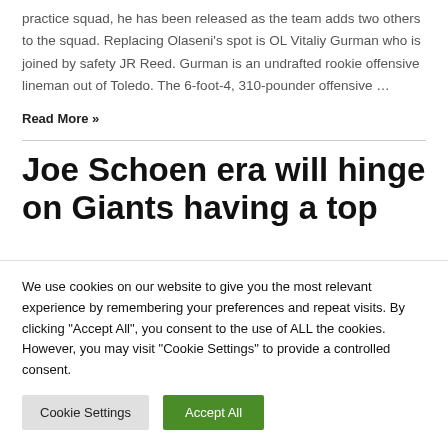practice squad, he has been released as the team adds two others to the squad. Replacing Olaseni's spot is OL Vitaliy Gurman who is joined by safety JR Reed. Gurman is an undrafted rookie offensive lineman out of Toledo. The 6-foot-4, 310-pounder offensive …
Read More »
Joe Schoen era will hinge on Giants having a top
We use cookies on our website to give you the most relevant experience by remembering your preferences and repeat visits. By clicking "Accept All", you consent to the use of ALL the cookies. However, you may visit "Cookie Settings" to provide a controlled consent.